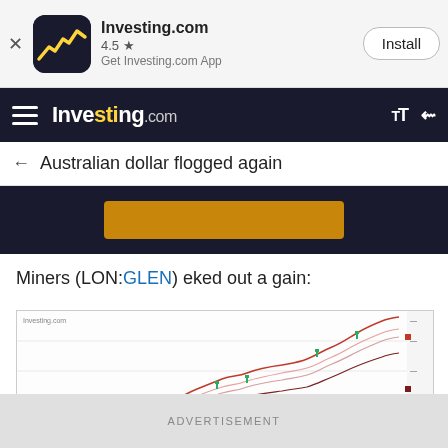[Figure (screenshot): App install banner for Investing.com showing app icon, rating 4.5 stars, and Install button]
Investing.com
Australian dollar flogged again
[Figure (infographic): Dark advertisement banner with golden/amber colored button]
Miners (LON:GLEN) eked out a gain:
[Figure (line-chart): Multi-line stock chart showing upward trending lines for miners including GLEN, with pink/red and green lines trending upward from left to right over a time period. Chart shows multiple overlapping lines rising together.]